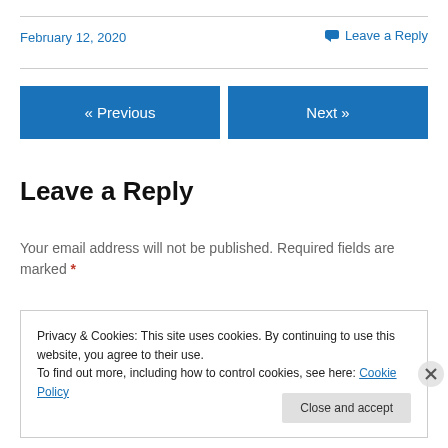February 12, 2020
Leave a Reply
« Previous
Next »
Leave a Reply
Your email address will not be published. Required fields are marked *
Privacy & Cookies: This site uses cookies. By continuing to use this website, you agree to their use.
To find out more, including how to control cookies, see here: Cookie Policy
Close and accept